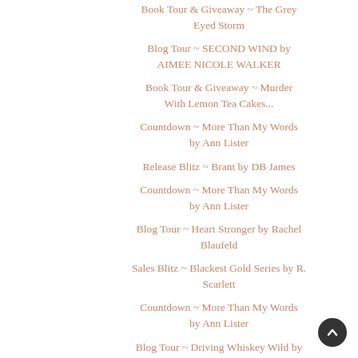Book Tour & Giveaway ~ The Grey Eyed Storm
Blog Tour ~ SECOND WIND by AIMEE NICOLE WALKER
Book Tour & Giveaway ~ Murder With Lemon Tea Cakes...
Countdown ~ More Than My Words by Ann Lister
Release Blitz ~ Brant by DB James
Countdown ~ More Than My Words by Ann Lister
Blog Tour ~ Heart Stronger by Rachel Blaufeld
Sales Blitz ~ Blackest Gold Series by R. Scarlett
Countdown ~ More Than My Words by Ann Lister
Blog Tour ~ Driving Whiskey Wild by Melissa Foster
Release Tour ~ Wheelie by Jessie Cooke